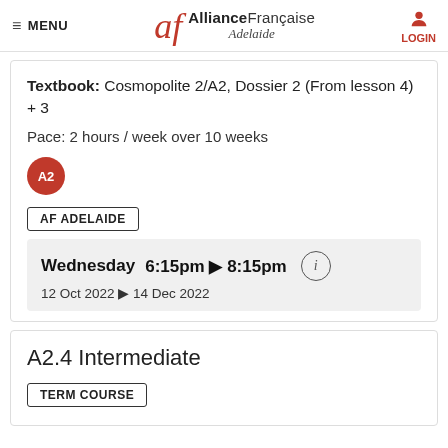MENU | Alliance Française Adelaide | LOGIN
Textbook: Cosmopolite 2/A2, Dossier 2 (From lesson 4) + 3
Pace: 2 hours / week over 10 weeks
A2
AF ADELAIDE
Wednesday  6:15pm ▶ 8:15pm
12 Oct 2022 ▶ 14 Dec 2022
A2.4 Intermediate
TERM COURSE